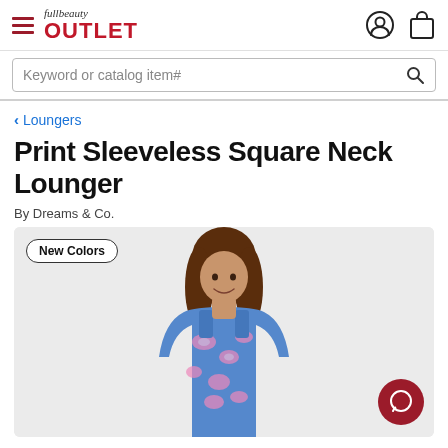fullbeauty OUTLET
Keyword or catalog item#
< Loungers
Print Sleeveless Square Neck Lounger
By Dreams & Co.
[Figure (photo): Model wearing a blue floral print sleeveless square neck lounger. Badge reads 'New Colors'.]